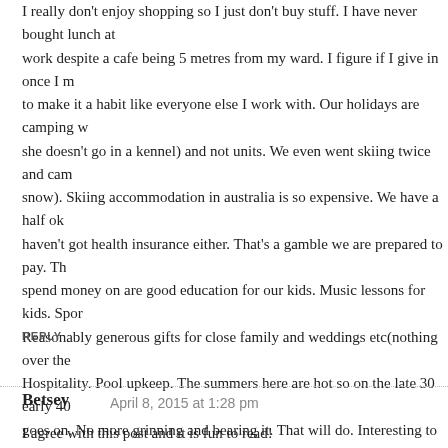I really don't enjoy shopping so I just don't buy stuff. I have never bought lunch at work despite a cafe being 5 metres from my ward. I figure if I give in once I make it to make it a habit like everyone else I work with. Our holidays are camping with the dog (she doesn't go in a kennel) and not units. We even went skiing twice and camped (in the snow). Skiing accommodation in australia is so expensive. We have a half ok but we haven't got health insurance either. That's a gamble we are prepared to pay. Things I spend money on are good education for our kids. Music lessons for kids. Sport for kids. Reasonably generous gifts for close family and weddings etc(nothing over the top). Hospitality. Pool upkeep. The summers here are hot so on the late 30 early 40 and as time goes on. No more grinning and bearing it. That will do. Interesting to see my c
REPLY
Betsey   April 8, 2015 at 1:28 pm
I agree with this post and it is fun to read!
I stopped all but basic cable and internet, turn down the thermostat and use sw water usage, and do most of the things previously mentioned including cookin not drinking wine/beer any more.
But I have to say that when it comes to clothing, I have to pay more because I